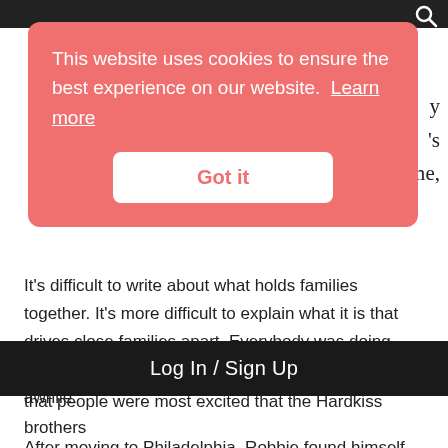[Figure (screenshot): Cookie consent banner with salmon/coral pink background showing cookie notice text and Got it button]
This website uses cookies to ensure the best experience on our website. Learn more
Got it
It’s difficult to write about what holds families together. It’s more difficult to explain what it is that drives close families apart. Everybody was doing their own thing. And that’s what they were doing for awhile.
After moving to Philadelphia, Robbie found himself joining Scott on stage for a live show in New York. “We had people driving from Vermont and stuff” he says. “Scott had his band
Log In / Sign Up
that people were most excited that the Hardkiss brothers